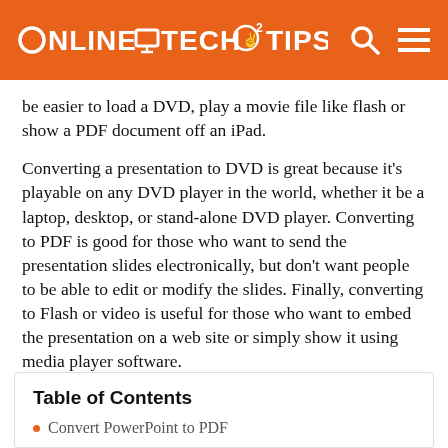ONLINE TECH TIPS
be easier to load a DVD, play a movie file like flash or show a PDF document off an iPad.
Converting a presentation to DVD is great because it's playable on any DVD player in the world, whether it be a laptop, desktop, or stand-alone DVD player. Converting to PDF is good for those who want to send the presentation slides electronically, but don't want people to be able to edit or modify the slides. Finally, converting to Flash or video is useful for those who want to embed the presentation on a web site or simply show it using media player software.
Table of Contents
Convert PowerPoint to PDF